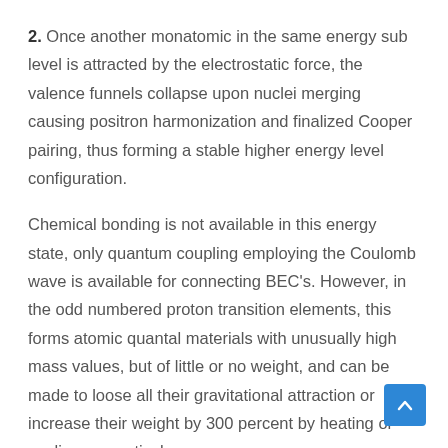2. Once another monatomic in the same energy sub level is attracted by the electrostatic force, the valence funnels collapse upon nuclei merging causing positron harmonization and finalized Cooper pairing, thus forming a stable higher energy level configuration.
Chemical bonding is not available in this energy state, only quantum coupling employing the Coulomb wave is available for connecting BEC's. However, in the odd numbered proton transition elements, this forms atomic quantal materials with unusually high mass values, but of little or no weight, and can be made to loose all their gravitational attraction or increase their weight by 300 percent by heating or cooling respectively.